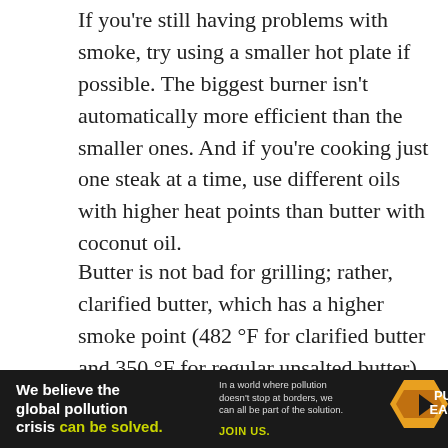If you're still having problems with smoke, try using a smaller hot plate if possible. The biggest burner isn't automatically more efficient than the smaller ones. And if you're cooking just one steak at a time, use different oils with higher heat points than butter with coconut oil.
Butter is not bad for grilling; rather, clarified butter, which has a higher smoke point (482 °F for clarified butter and 350 °F for regular unsalted butter), is better for use. When cooking at high temperatures, olive oil and butter have a low smoke point, so they aren't ideal choices.
If you don't use butter or oil, you'll probably end up
[Figure (infographic): Advertisement banner for Pure Earth. Black background. Left: 'We believe the global pollution crisis can be solved.' (can be solved in yellow/green). Middle: 'In a world where pollution doesn't stop at borders, we can all be part of the solution. JOIN US.' Right: Pure Earth logo (orange/yellow diamond with downward triangle, white text PURE EARTH).]